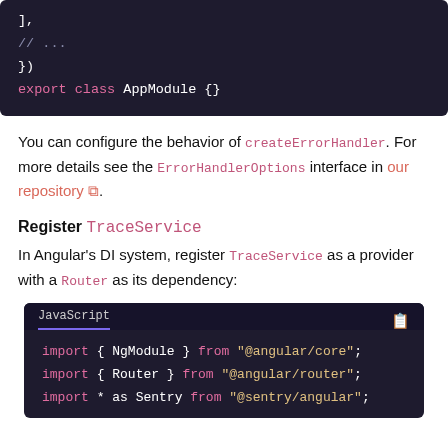[Figure (screenshot): Dark-themed code block showing Angular module code: ], // ... }) and export class AppModule {}]
You can configure the behavior of createErrorHandler. For more details see the ErrorHandlerOptions interface in our repository ⧉.
Register TraceService
In Angular's DI system, register TraceService as a provider with a Router as its dependency:
[Figure (screenshot): Dark-themed JavaScript code block showing: import { NgModule } from "@angular/core"; import { Router } from "@angular/router"; import * as Sentry from "@sentry/angular";]